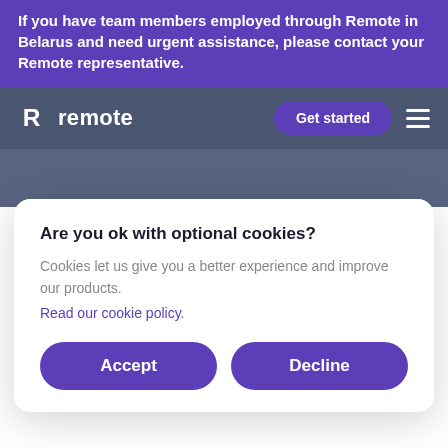If you have team members employed through Remote in Belarus and need urgent assistance, please contact your Remote representative.
[Figure (screenshot): Remote company logo (stylized R icon) and wordmark 'remote' in white, with a 'Get started' purple button and hamburger menu icon on a dark blue-grey background]
Are you ok with optional cookies?
Cookies let us give you a better experience and improve our products.
Read our cookie policy.
Accept
Decline